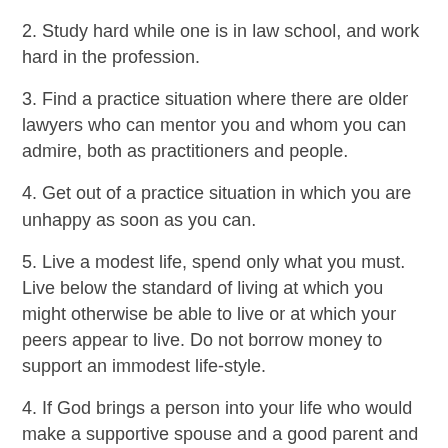2. Study hard while one is in law school, and work hard in the profession.
3. Find a practice situation where there are older lawyers who can mentor you and whom you can admire, both as practitioners and people.
4. Get out of a practice situation in which you are unhappy as soon as you can.
5. Live a modest life, spend only what you must. Live below the standard of living at which you might otherwise be able to live or at which your peers appear to live. Do not borrow money to support an immodest life-style.
4. If God brings a person into your life who would make a supportive spouse and a good parent and who shares your faith, then by all means get that person to marry you and then, after a reasonable period of time, start a family with that person. God calls most of us into marriage and direct family formation. However, he calls some very special